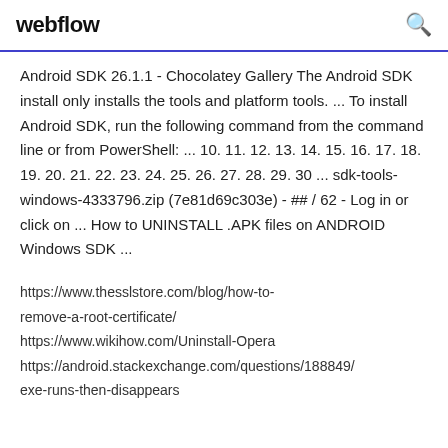webflow
Android SDK 26.1.1 - Chocolatey Gallery The Android SDK install only installs the tools and platform tools. ... To install Android SDK, run the following command from the command line or from PowerShell: ... 10. 11. 12. 13. 14. 15. 16. 17. 18. 19. 20. 21. 22. 23. 24. 25. 26. 27. 28. 29. 30 ... sdk-tools-windows-4333796.zip (7e81d69c303e) - ## / 62 - Log in or click on ... How to UNINSTALL .APK files on ANDROID Windows SDK ...
https://www.thesslstore.com/blog/how-to-remove-a-root-certificate/
https://www.wikihow.com/Uninstall-Opera
https://android.stackexchange.com/questions/188849/
exe-runs-then-disappears